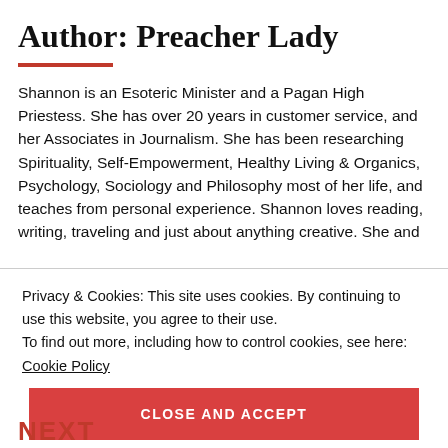Author: Preacher Lady
Shannon is an Esoteric Minister and a Pagan High Priestess. She has over 20 years in customer service, and her Associates in Journalism. She has been researching Spirituality, Self-Empowerment, Healthy Living & Organics, Psychology, Sociology and Philosophy most of her life, and teaches from personal experience. Shannon loves reading, writing, traveling and just about anything creative. She and
Privacy & Cookies: This site uses cookies. By continuing to use this website, you agree to their use.
To find out more, including how to control cookies, see here: Cookie Policy
CLOSE AND ACCEPT
NEXT